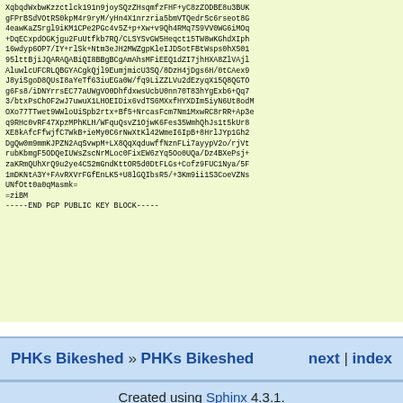XqbqdWxbwKzzctlck191n9joySQzZHsqmfzFHF+yC8zZODBE8u3BUK...
gFPrBSdVOtRS0kpM4r9ryM/yHn4X1nrzria5bmVTQedrSc6rseot8G...
4eawKaZSrgl9iKM1CPe2PGc4v5Z+p+Xw+v9Qh4RMq7S9VV0WG6iMOq...
+DqECxpdOGKjgu2FuUtfkb7RQ/CLSYSvGW5Heqct15TW8wKGhdXIph...
16wdyp6OP7/IY+rlSk+Ntm3eJH2MWZgpKleIJDSotFBtWsps0hXS01...
95lttBjiJQARAQABiQI8BBgBCgAmAhsMFiEEQ1dZI7jhHXA8ZlVAjl...
AluwlcUFCRLQBGYACgkQjl9EumjmicU3SQ/8DzH4jDgs6H/0tCAex9...
J8yiSgoD8QUsI8aYeTf63iuEGa0W/fq9LiZZLVu2dEzyqX15Q8QGTO...
g6Fs8/iDNYrrsEC77aUWgVO0DhfdxwsUcbU0nn70T83hYgExb6+Qq7...
3/btxPsChOF2wJ7uwuX1LHOEIDix6vdTS6MXxfHYXDIm5iyN6Ut8odM...
OXo77TTwet9WWloUiSpb2rtx+Bf5+NrcasFcm7Nm1MxwRC8rRR+Ap3e...
q9RHc0vRF47XpzMPhKLH/WFquQsvZ1OjwK6Fes35WmhQhJs1t5kUr8...
XE8kAfcFfwjfC7WkB+ieMy0C6rNwXtKl42WmeI6IpB+8HrlJYp1Gh2...
DgQw0m9mmKJPZN2AqSvwpM+LX8QqXqduwffNznFLi7ayypV2o/rjVt...
rubKbmgF5ODQeIUWsZscNrMLoc0FixEW6zYq5Oo0UQa/Dz4BXePsj+...
zaKRmQUhXrQ9u2ye4CS2mGndKttOR5d0DtFLGs+Cofz9FUC1Nya/5F...
1mDKNtA3Y+FAvRXVrFGfEnLK5+U8lGQIbsR5/+3Km9ii1S3CoeVZNs...
UNfOtt0a0qMasmk=
=ziBM
-----END PGP PUBLIC KEY BLOCK-----
PHKs Bikeshed » PHKs Bikeshed    next | index
Created using Sphinx 4.3.1.